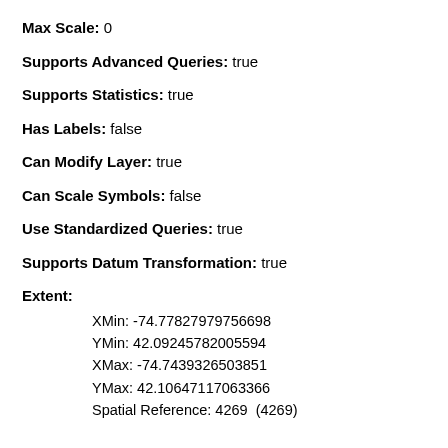Max Scale: 0
Supports Advanced Queries: true
Supports Statistics: true
Has Labels: false
Can Modify Layer: true
Can Scale Symbols: false
Use Standardized Queries: true
Supports Datum Transformation: true
Extent:
XMin: -74.77827979756698
YMin: 42.09245782005594
XMax: -74.7439326503851
YMax: 42.10647117063366
Spatial Reference: 4269  (4269)
Drawing Info: